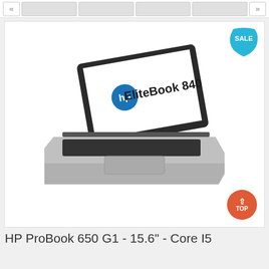« [thumbnails] »
[Figure (photo): HP EliteBook 840 laptop computer shown at an angle, open, with a silver and black body. A blue circular 'SALE' speech bubble badge appears in the top-right corner of the image frame. An orange circular 'TOP' button with an upward chevron appears in the bottom-right of the frame.]
HP ProBook 650 G1 - 15.6" - Core I5